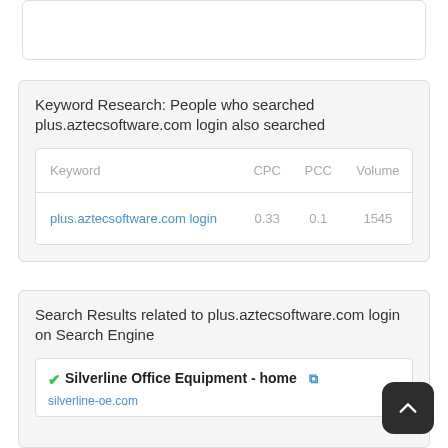Keyword Research: People who searched plus.aztecsoftware.com login also searched
| Keyword | CPC | PCC | Volume |
| --- | --- | --- | --- |
| plus.aztecsoftware.com login | 0.33 | 0.1 | 1545 |
Search Results related to plus.aztecsoftware.com login on Search Engine
Silverline Office Equipment - home
silverline-oe.com